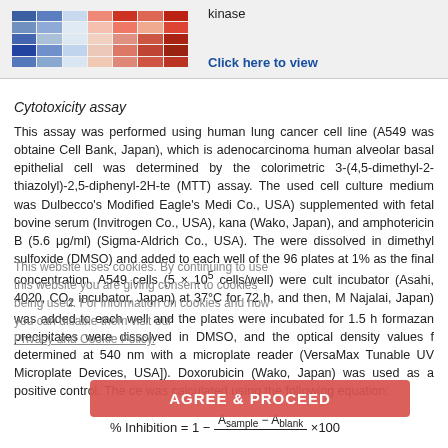[Figure (other): Heatmap thumbnail image showing a colored grid with blue-to-red gradient]
kinase
Click here to view
Cytotoxicity assay
This assay was performed using human lung cancer cell line (A549 was obtained from Cell Bank, Japan), which is adenocarcinoma human alveolar basal epithelial cell was determined by the colorimetric 3-(4,5-dimethyl-2-thiazolyl)-2,5-diphenyl-2H-te (MTT) assay. The used cell culture medium was Dulbecco's Modified Eagle's Medi Co., USA) supplemented with fetal bovine serum (Invitrogen Co., USA), kana (Wako, Japan), and amphotericin B (5.6 μg/ml) (Sigma-Aldrich Co., USA). The were dissolved in dimethyl sulfoxide (DMSO) and added to each well of the 96 plates at 1% as the final concentration. A549 cells (5 × 10⁵ cells/well) were cult incubator (Asahi, 4020, CO₂ incubator, Japan) at 37°C for 72 h, and then, M Najalai, Japan) was added to each well and the plates were incubated for 1.5 h formazan precipitates were dissolved in DMSO, and the optical density values f determined at 540 nm with a microplate reader (VersaMax Tunable UV Microplate Devices, USA]). Doxorubicin (Wako, Japan) was used as a positive control. The ce was calculated using the following equation: